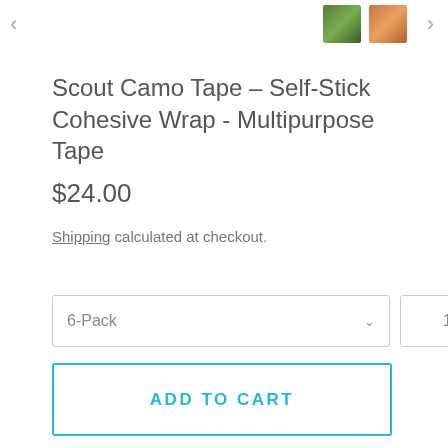Scout Camo Tape – Self-Stick Cohesive Wrap - Multipurpose Tape
$24.00
Shipping calculated at checkout.